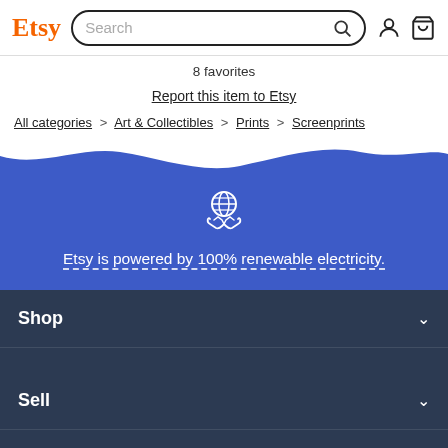Etsy | Search
8 favorites
Report this item to Etsy
All categories > Art & Collectibles > Prints > Screenprints
[Figure (illustration): Blue wave background with globe and hands icon. Text: Etsy is powered by 100% renewable electricity.]
Shop
Sell
About